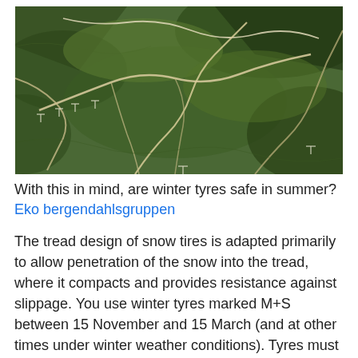[Figure (photo): Aerial photograph of a hilly green landscape with winding dirt roads and wind turbines visible across the terrain, taken from above at an angle.]
With this in mind, are winter tyres safe in summer?
Eko bergendahlsgruppen
The tread design of snow tires is adapted primarily to allow penetration of the snow into the tread, where it compacts and provides resistance against slippage. You use winter tyres marked M+S between 15 November and 15 March (and at other times under winter weather conditions). Tyres must